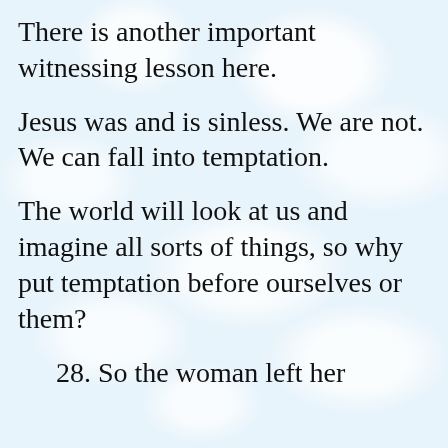There is another important witnessing lesson here.
Jesus was and is sinless. We are not. We can fall into temptation.
The world will look at us and imagine all sorts of things, so why put temptation before ourselves or them?
28. So the woman left her